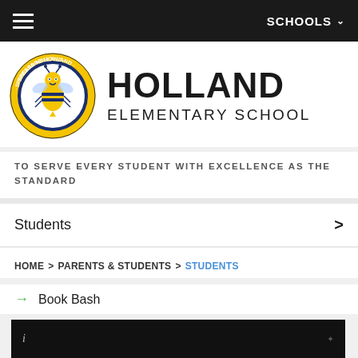≡  SCHOOLS ∨
[Figure (logo): Spessard Holland Elementary school circular logo with a bee mascot, yellow and navy blue colors]
HOLLAND ELEMENTARY SCHOOL
TO SERVE EVERY STUDENT WITH EXCELLENCE AS THE STANDARD
Students
HOME > PARENTS & STUDENTS > STUDENTS
Book Bash
[Figure (screenshot): Black video player area at bottom of page]